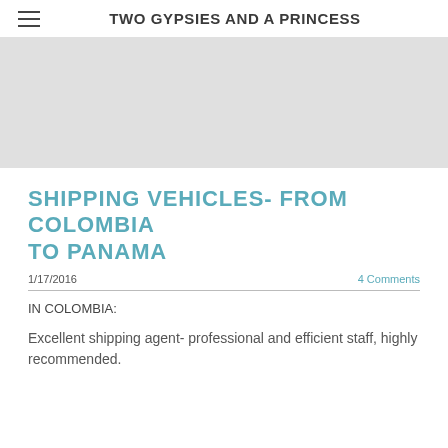TWO GYPSIES AND A PRINCESS
[Figure (photo): Gray placeholder hero image area]
SHIPPING VEHICLES- FROM COLOMBIA TO PANAMA
1/17/2016    4 Comments
IN COLOMBIA:
Excellent shipping agent- professional and efficient staff, highly recommended.